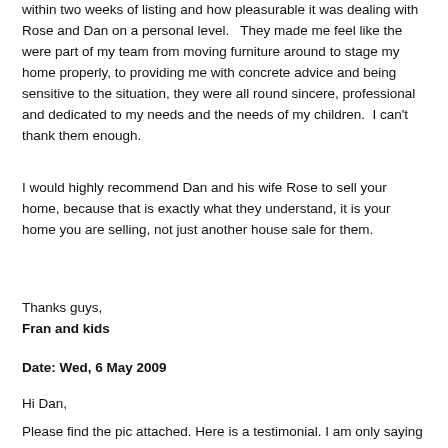within two weeks of listing and how pleasurable it was dealing with Rose and Dan on a personal level.   They made me feel like the were part of my team from moving furniture around to stage my home properly, to providing me with concrete advice and being sensitive to the situation, they were all round sincere, professional and dedicated to my needs and the needs of my children.  I can't thank them enough.
I would highly recommend Dan and his wife Rose to sell your home, because that is exactly what they understand, it is your home you are selling, not just another house sale for them.
Thanks guys,
Fran and kids
Date: Wed, 6 May 2009
Hi Dan,
Please find the pic attached. Here is a testimonial. I am only saying how I truly feel. Thank you for everything. Take care.